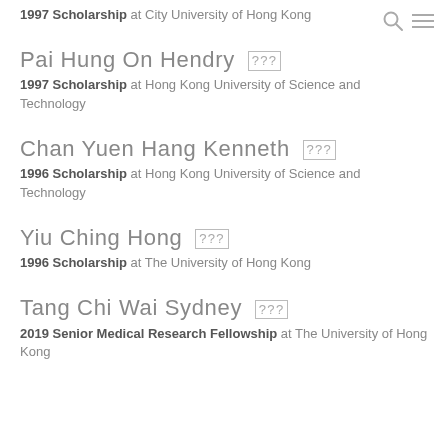1997 Scholarship at City University of Hong Kong
Pai Hung On Hendry [CJK]
1997 Scholarship at Hong Kong University of Science and Technology
Chan Yuen Hang Kenneth [CJK]
1996 Scholarship at Hong Kong University of Science and Technology
Yiu Ching Hong [CJK]
1996 Scholarship at The University of Hong Kong
Tang Chi Wai Sydney [CJK]
2019 Senior Medical Research Fellowship at The University of Hong Kong